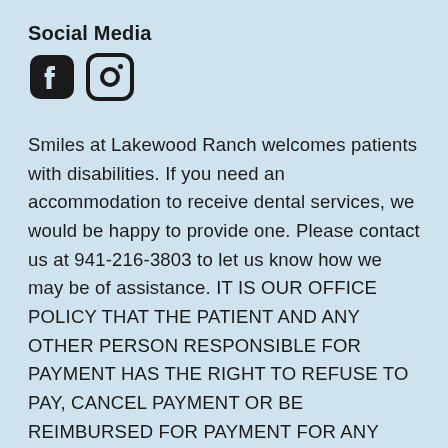Social Media
[Figure (logo): Facebook and Instagram social media icons (logos)]
Smiles at Lakewood Ranch welcomes patients with disabilities. If you need an accommodation to receive dental services, we would be happy to provide one. Please contact us at 941-216-3803 to let us know how we may be of assistance. IT IS OUR OFFICE POLICY THAT THE PATIENT AND ANY OTHER PERSON RESPONSIBLE FOR PAYMENT HAS THE RIGHT TO REFUSE TO PAY, CANCEL PAYMENT OR BE REIMBURSED FOR PAYMENT FOR ANY OTHER SERVICE, EXAMINATION OR TREATMENT WHICH IS PERFORMED AS A RESULT OF AND WITHIN 72 HOURS OF RESPONDING TO